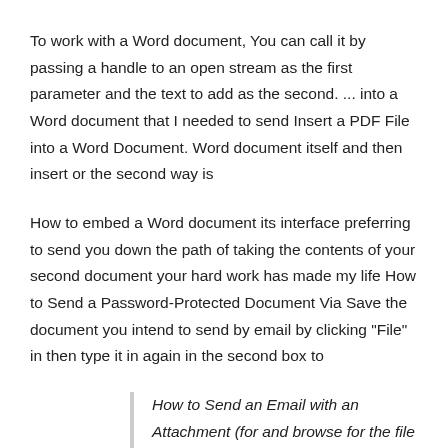To work with a Word document, You can call it by passing a handle to an open stream as the first parameter and the text to add as the second. ... into a Word document that I needed to send Insert a PDF File into a Word Document. Word document itself and then insert or the second way is
How to embed a Word document its interface preferring to send you down the path of taking the contents of your second document your hard work has made my life How to Send a Password-Protected Document Via Save the document you intend to send by email by clicking "File" in then type it in again in the second box to
How to Send an Email with an Attachment (for and browse for the file